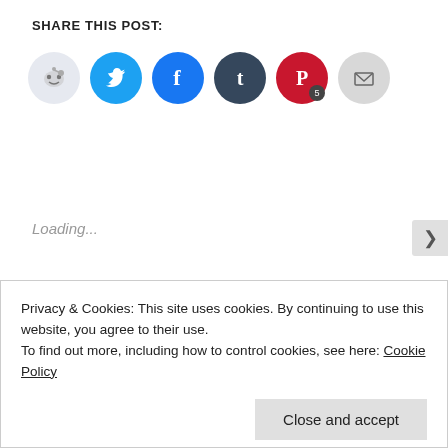SHARE THIS POST:
[Figure (infographic): Social sharing icons: Reddit (light blue circle), Twitter (blue circle with bird), Facebook (blue circle with f), Tumblr (dark teal circle with t), Pinterest (red circle with P and badge '5'), Email (gray circle with envelope)]
Loading...
ALL IN ONE SKINCARE, CREAMS, GIVEAWAYS, NEWS, PRODUCT PREVIEWS, SPECIALTY, SUNSCREEN, WESTERN PRODUCTS
Privacy & Cookies: This site uses cookies. By continuing to use this website, you agree to their use.
To find out more, including how to control cookies, see here: Cookie Policy